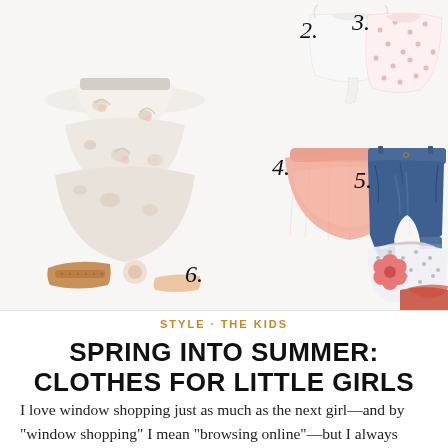[Figure (photo): Collage of 6 numbered children's clothing and accessory items: 1. floral tiered skirt, 2. white tie-front top, 3. pink polka dot blouse, 4. salmon/pink tulle skirt, 5. denim shorts, 6. sandals/headband accessories, plus a polka dot halter bikini top with pink flower]
STYLE · THE KIDS
SPRING INTO SUMMER: CLOTHES FOR LITTLE GIRLS
I love window shopping just as much as the next girl—and by "window shopping" I mean "browsing online"—but I always miss stuff